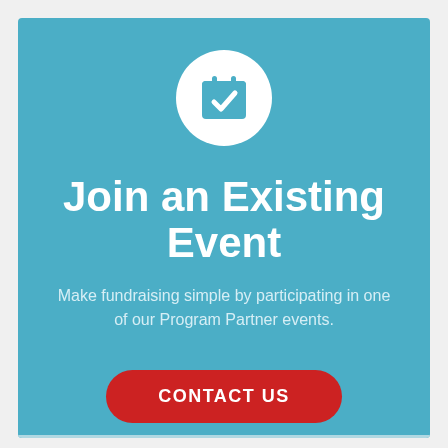[Figure (illustration): White circle icon with a calendar checkmark symbol on a teal/blue background]
Join an Existing Event
Make fundraising simple by participating in one of our Program Partner events.
CONTACT US